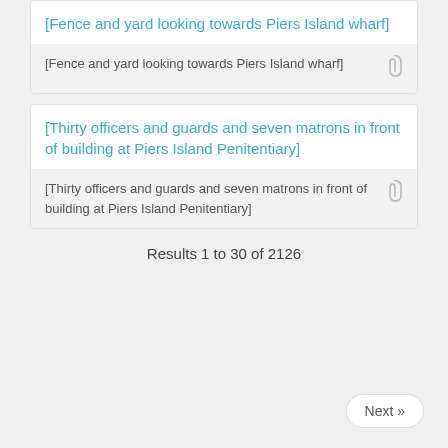[Fence and yard looking towards Piers Island wharf]
[Fence and yard looking towards Piers Island wharf]
[Thirty officers and guards and seven matrons in front of building at Piers Island Penitentiary]
[Thirty officers and guards and seven matrons in front of building at Piers Island Penitentiary]
Results 1 to 30 of 2126
Next »